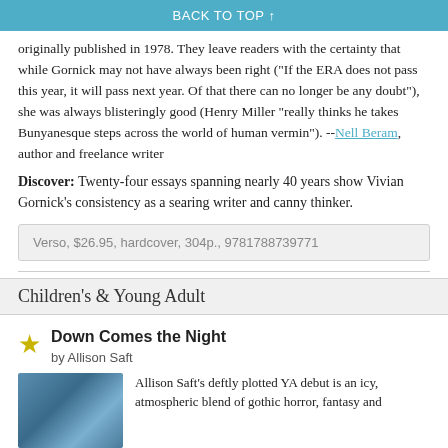BACK TO TOP ↑
originally published in 1978. They leave readers with the certainty that while Gornick may not have always been right ("If the ERA does not pass this year, it will pass next year. Of that there can no longer be any doubt"), she was always blisteringly good (Henry Miller "really thinks he takes Bunyanesque steps across the world of human vermin"). --Nell Beram, author and freelance writer
Discover: Twenty-four essays spanning nearly 40 years show Vivian Gornick's consistency as a searing writer and canny thinker.
Verso, $26.95, hardcover, 304p., 9781788739771
Children's & Young Adult
Down Comes the Night
by Allison Saft
Allison Saft's deftly plotted YA debut is an icy, atmospheric blend of gothic horror, fantasy and